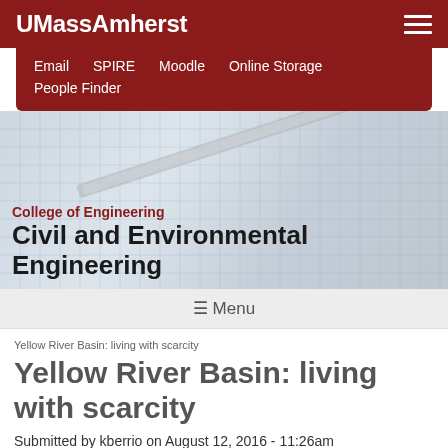UMassAmherst
Email  SPIRE  Moodle  Online Storage  People Finder
[Figure (screenshot): Hero banner with blueprint grid background and pencil/ruler image, with 'College of Engineering' in dark red and 'Civil and Environmental Engineering' in large black bold text overlaid]
☰ Menu
Yellow River Basin: living with scarcity
Yellow River Basin: living with scarcity
Submitted by kberrio on August 12, 2016 - 11:26am